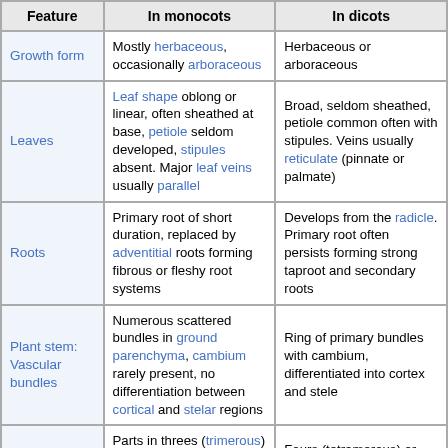| Feature | In monocots | In dicots |
| --- | --- | --- |
| Growth form | Mostly herbaceous, occasionally arboraceous | Herbaceous or arboraceous |
| Leaves | Leaf shape oblong or linear, often sheathed at base, petiole seldom developed, stipules absent. Major leaf veins usually parallel | Broad, seldom sheathed, petiole common often with stipules. Veins usually reticulate (pinnate or palmate) |
| Roots | Primary root of short duration, replaced by adventitial roots forming fibrous or fleshy root systems | Develops from the radicle. Primary root often persists forming strong taproot and secondary roots |
| Plant stem: Vascular bundles | Numerous scattered bundles in ground parenchyma, cambium rarely present, no differentiation between cortical and stelar regions | Ring of primary bundles with cambium, differentiated into cortex and stele |
| Flowers | Parts in threes (trimerous) or multiples of three (e.g. 3, 6 or 9 | Fours (tetramerous) or fives (pentamerous) |